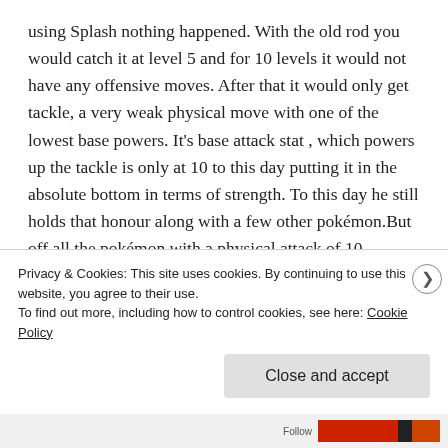using Splash nothing happened. With the old rod you would catch it at level 5 and for 10 levels it would not have any offensive moves. After that it would only get tackle, a very weak physical move with one of the lowest base powers. It's base attack stat , which powers up the tackle is only at 10 to this day putting it in the absolute bottom in terms of strength. To this day he still holds that honour along with a few other pokémon.But off all the pokémon with a physical attack of 10.. magikarp has the lowest base stat total (power level). Nearly every stat for magikarp is bad.. it's defence is close to okay and it's
Privacy & Cookies: This site uses cookies. By continuing to use this website, you agree to their use.
To find out more, including how to control cookies, see here: Cookie Policy
Close and accept